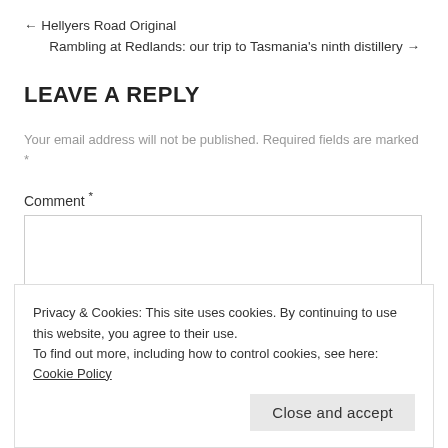← Hellyers Road Original
Rambling at Redlands: our trip to Tasmania's ninth distillery →
LEAVE A REPLY
Your email address will not be published. Required fields are marked *
Comment *
Privacy & Cookies: This site uses cookies. By continuing to use this website, you agree to their use.
To find out more, including how to control cookies, see here: Cookie Policy
Close and accept